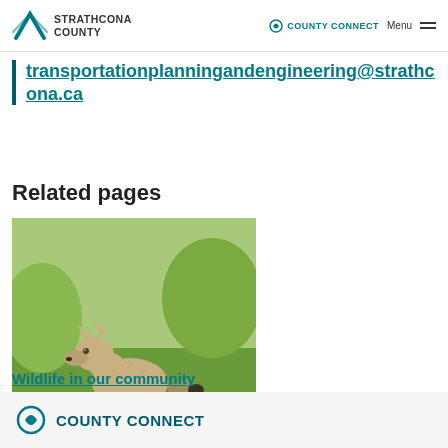STRATHCONA COUNTY | COUNTY CONNECT | Menu
transportationplanningandengineering@strathcona.ca
Related pages
[Figure (photo): A coyote standing in a grassy field, facing the camera]
Wildlife in our community
COUNTY CONNECT